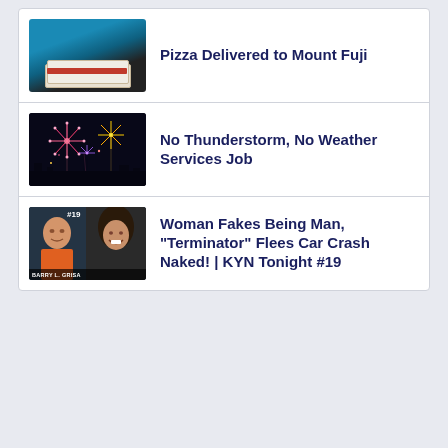Pizza Delivered to Mount Fuji
No Thunderstorm, No Weather Services Job
Woman Fakes Being Man, “Terminator” Flees Car Crash Naked! | KYN Tonight #19